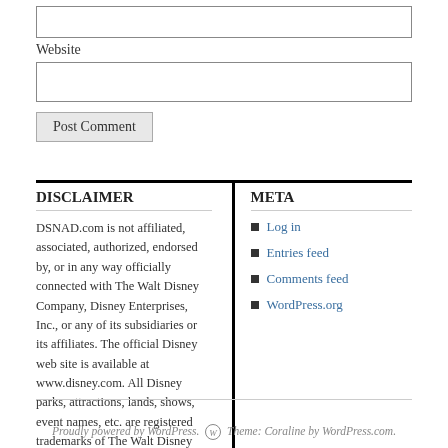Website
DISCLAIMER
DSNAD.com is not affiliated, associated, authorized, endorsed by, or in any way officially connected with The Walt Disney Company, Disney Enterprises, Inc., or any of its subsidiaries or its affiliates. The official Disney web site is available at www.disney.com. All Disney parks, attractions, lands, shows, event names, etc. are registered trademarks of The Walt Disney Company.
META
Log in
Entries feed
Comments feed
WordPress.org
Proudly powered by WordPress. Theme: Coraline by WordPress.com.